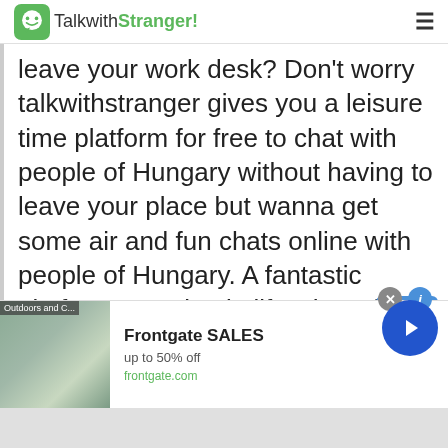TalkwithStranger!
leave your work desk? Don't worry talkwithstranger gives you a leisure time platform for free to chat with people of Hungary without having to leave your place but wanna get some air and fun chats online with people of Hungary. A fantastic platform to maintain life where fun
[Figure (screenshot): Advertisement banner for Frontgate SALES showing outdoor furniture with fire pit, text: Frontgate SALES, up to 50% off, frontgate.com]